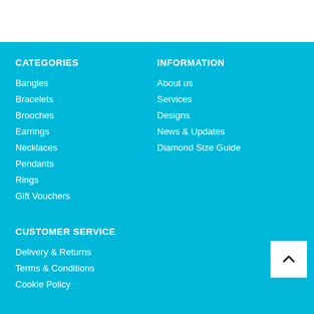CATEGORIES
Bangles
Bracelets
Brooches
Earrings
Necklaces
Pendants
Rings
Gift Vouchers
INFORMATION
About us
Services
Designs
News & Updates
Diamond Size Guide
CUSTOMER SERVICE
Delivery & Returns
Terms & Conditions
Cookie Policy